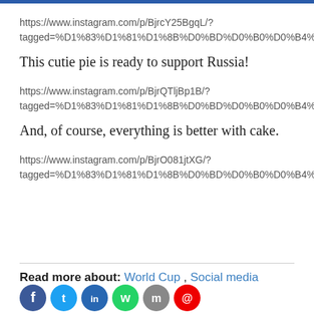https://www.instagram.com/p/BjrcY25BgqL/?tagged=%D1%83%D1%81%D1%8B%D0%BD%D0%B0%D0%B4%
This cutie pie is ready to support Russia!
https://www.instagram.com/p/BjrQTljBp1B/?tagged=%D1%83%D1%81%D1%8B%D0%BD%D0%B0%D0%B4%
And, of course, everything is better with cake.
https://www.instagram.com/p/BjrO081jtXG/?tagged=%D1%83%D1%81%D1%8B%D0%BD%D0%B0%D0%B4%
Read more about: World Cup , Social media